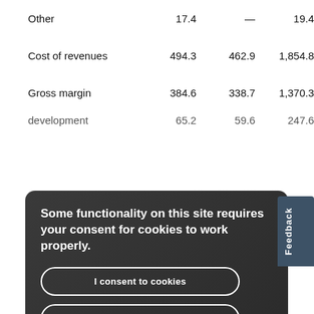| Other | 17.4 | — | 19.4 | — |
| Cost of revenues | 494.3 | 462.9 | 1,854.8 | 1,645.5 |
| Gross margin | 384.6 | 338.7 | 1,370.3 | 1,273.6 |
| development | 65.2 | 59.6 | 247.6 | 233.9 |
Some functionality on this site requires your consent for cookies to work properly.
I consent to cookies
I want more information